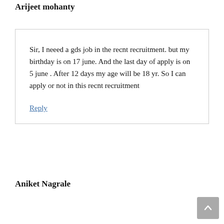Arijeet mohanty
Sir, I neeed a gds job in the recnt recruitment. but my birthday is on 17 june. And the last day of apply is on 5 june . After 12 days my age will be 18 yr. So I can apply or not in this recnt recruitment
Reply
Aniket Nagrale